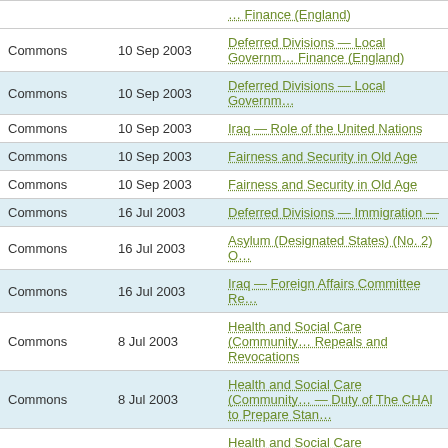| Chamber | Date | Title |
| --- | --- | --- |
| Commons | 10 Sep 2003 | Finance (England) |
| Commons | 10 Sep 2003 | Deferred Divisions — Local Government Finance (England) |
| Commons | 10 Sep 2003 | Deferred Divisions — Local Government… |
| Commons | 10 Sep 2003 | Iraq — Role of the United Nations |
| Commons | 10 Sep 2003 | Fairness and Security in Old Age |
| Commons | 10 Sep 2003 | Fairness and Security in Old Age |
| Commons | 16 Jul 2003 | Deferred Divisions — Immigration — |
| Commons | 16 Jul 2003 | Asylum (Designated States) (No. 2) O… |
| Commons | 16 Jul 2003 | Iraq — Foreign Affairs Committee Re… |
| Commons | 8 Jul 2003 | Health and Social Care (Community… Repeals and Revocations |
| Commons | 8 Jul 2003 | Health and Social Care (Community… — Duty of The CHAI to Prepare Stan… |
| Commons | 8 Jul 2003 | Health and Social Care (Community… — Foundation Patients' Fora |
| Commons | 8 Jul 2003 | Health and Social Care (Community… Community Trusts |
| Commons | 8 Jul 2003 | Health and Social Care (Community… Foundation Trusts |
| Commons | 8 Jul 2003 | Health and Social Care (Communit… |